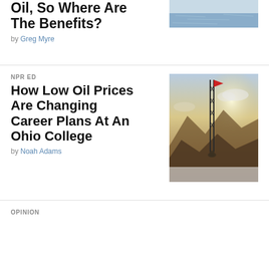Oil, So Where Are The Benefits?
by Greg Myre
[Figure (photo): Aerial or wide shot of water/ocean, partially visible at top of page]
[Figure (photo): A person on top of a structure with a flag, oil derrick/tower against dramatic mountainous sky backdrop]
NPR ED
How Low Oil Prices Are Changing Career Plans At An Ohio College
by Noah Adams
OPINION